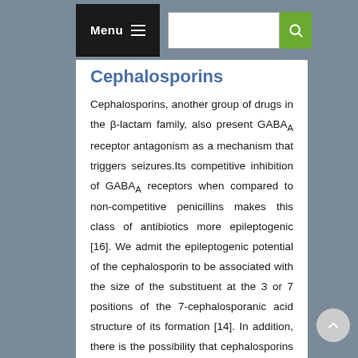Menu [hamburger icon] [search bar]
Cephalosporins
Cephalosporins, another group of drugs in the β-lactam family, also present GABAA receptor antagonism as a mechanism that triggers seizures.Its competitive inhibition of GABAA receptors when compared to non-competitive penicillins makes this class of antibiotics more epileptogenic [16]. We admit the epileptogenic potential of the cephalosporin to be associated with the size of the substituent at the 3 or 7 positions of the 7-cephalosporanic acid structure of its formation [14]. In addition, there is the possibility that cephalosporins contribute to crises through an agonist effect on acetylcholine receptor. Nevertheless...